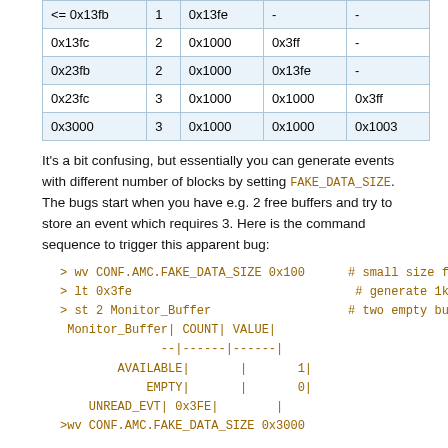|  |  |  |  |  |
| --- | --- | --- | --- | --- |
| <= 0x13fb | 1 | 0x13fe | - | - |
| 0x13fc | 2 | 0x1000 | 0x3ff | - |
| 0x23fb | 2 | 0x1000 | 0x13fe | - |
| 0x23fc | 3 | 0x1000 | 0x1000 | 0x3ff |
| 0x3000 | 3 | 0x1000 | 0x1000 | 0x1003 |
It's a bit confusing, but essentially you can generate events with different number of blocks by setting FAKE_DATA_SIZE. The bugs start when you have e.g. 2 free buffers and try to store an event which requires 3. Here is the command sequence to trigger this apparent bug:
> wv CONF.AMC.FAKE_DATA_SIZE 0x100     # small size f
> lt 0x3fe                              # generate 1k
> st 2 Monitor_Buffer                  # two empty bu
 Monitor_Buffer| COUNT| VALUE|
              --|------|------|
        AVAILABLE|       |      1|
           EMPTY|       |      0|
    UNREAD_EVT| 0x3FE|        |
>wv CONF.AMC.FAKE_DATA_SIZE 0x3000